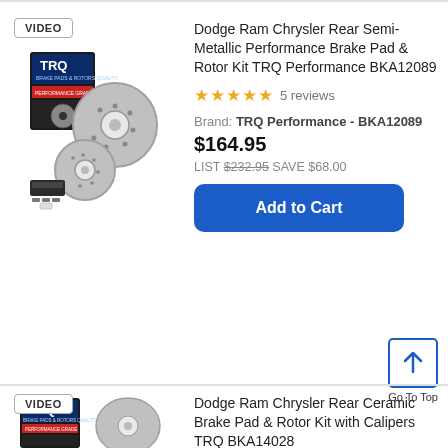VIDEO
[Figure (photo): TRQ brake pad and rotor kit product photo showing two rotors and brake pads in front of a TRQ branded box]
Dodge Ram Chrysler Rear Semi-Metallic Performance Brake Pad & Rotor Kit TRQ Performance BKA12089
★★★★★ 5 reviews
Brand: TRQ Performance - BKA12089
$164.95
LIST $232.95 SAVE $68.00
Add to Cart
Go To Top
VIDEO
[Figure (photo): TRQ brake pad and rotor kit product photo partial view]
Dodge Ram Chrysler Rear Ceramic Brake Pad & Rotor Kit with Calipers TRQ BKA14028
★★★★★ 1 reviews
Brand: TRQ - BKA14028